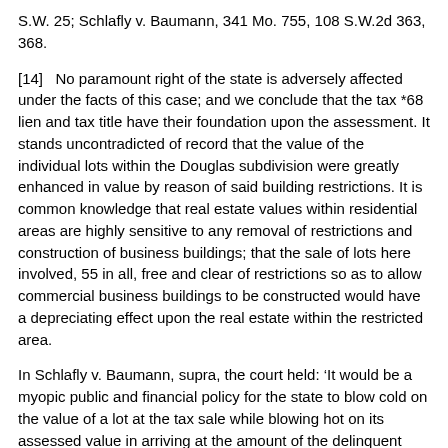S.W. 25; Schlafly v. Baumann, 341 Mo. 755, 108 S.W.2d 363, 368.
[14]   No paramount right of the state is adversely affected under the facts of this case; and we conclude that the tax *68 lien and tax title have their foundation upon the assessment. It stands uncontradicted of record that the value of the individual lots within the Douglas subdivision were greatly enhanced in value by reason of said building restrictions. It is common knowledge that real estate values within residential areas are highly sensitive to any removal of restrictions and construction of business buildings; that the sale of lots here involved, 55 in all, free and clear of restrictions so as to allow commercial business buildings to be constructed would have a depreciating effect upon the real estate within the restricted area.
In Schlafly v. Baumann, supra, the court held: ‘It would be a myopic public and financial policy for the state to blow cold on the value of a lot at the tax sale while blowing hot on its assessed value in arriving at the amount of the delinquent taxes for which the lot is being sold * * *.’
[15]   We do not believe that the Legislature intended, nor do the holdings of this court lend color to the theory, that tax lien foreclosures and sales should decrease the value of the realty